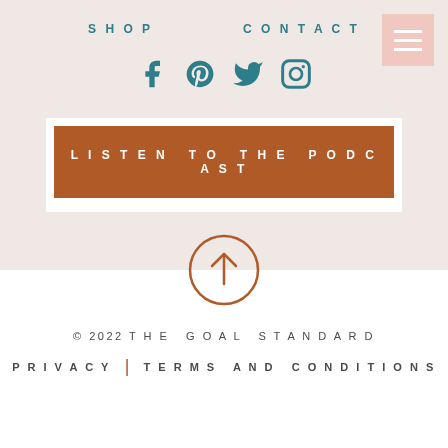SHOP
CONTACT
[Figure (illustration): Social media icons: Facebook, Pinterest, Twitter, Instagram in teal color]
LISTEN TO THE PODCAST
[Figure (illustration): Circular up arrow icon in terracotta/brown color]
© 2022 THE GOAL STANDARD
PRIVACY | TERMS AND CONDITIONS